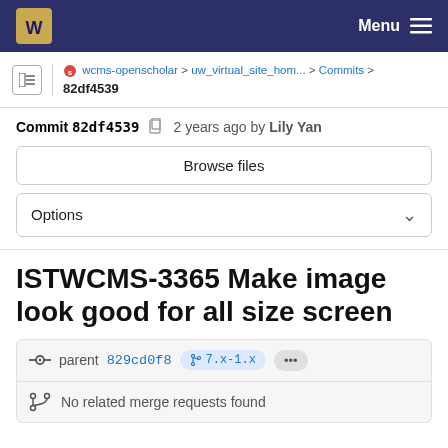Menu
wcms-openscholar > uw_virtual_site_hom... > Commits > 82df4539
Commit 82df4539  2 years ago by Lily Yan
Browse files
Options
ISTWCMS-3365 Make image look good for all size screen
parent 829cd0f8  7.x-1.x  ...
No related merge requests found